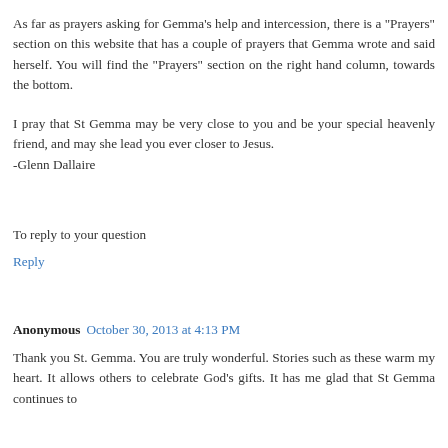As far as prayers asking for Gemma's help and intercession, there is a "Prayers" section on this website that has a couple of prayers that Gemma wrote and said herself. You will find the "Prayers" section on the right hand column, towards the bottom.
I pray that St Gemma may be very close to you and be your special heavenly friend, and may she lead you ever closer to Jesus.
-Glenn Dallaire
To reply to your question
Reply
Anonymous  October 30, 2013 at 4:13 PM
Thank you St. Gemma. You are truly wonderful. Stories such as these warm my heart. It allows others to celebrate God's gifts. It has me glad that St Gemma continues to...